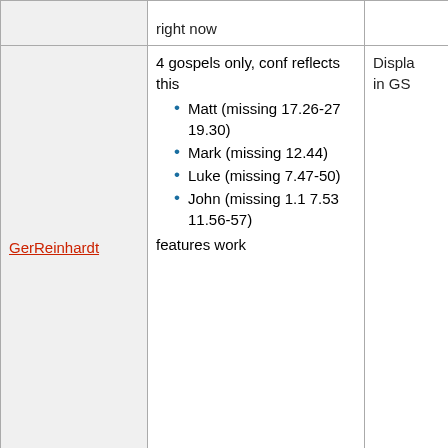|  | Description | Notes |
| --- | --- | --- |
|  | right now |  |
| GerReinhardt | 4 gospels only, conf reflects this
• Matt (missing 17.26-27 19.30)
• Mark (missing 12.44)
• Luke (missing 7.47-50)
• John (missing 1.1 7.53 11.56-57)
features work | Displa in GS |
|  | Various OT and complete NT
Conf reflects this OT is missing: |  |